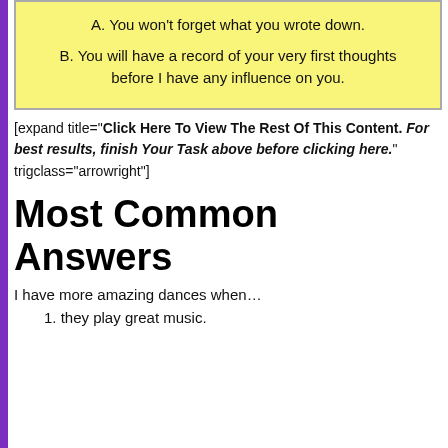A. You won't forget what you wrote down.
B. You will have a record of your very first thoughts before I have any influence on you.
[expand title="Click Here To View The Rest Of This Content. For best results, finish Your Task above before clicking here." trigclass="arrowright"]
Most Common Answers
I have more amazing dances when…
1. they play great music.